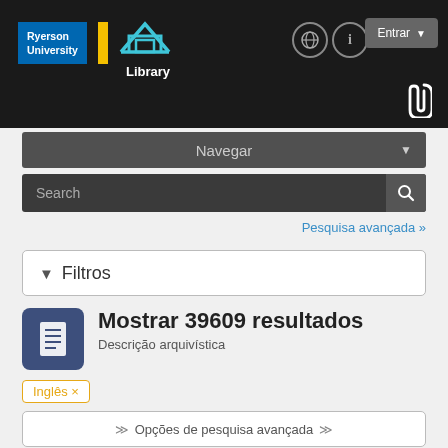[Figure (screenshot): Ryerson University Library website header with logo, navigation icons, and Entrar (login) button on black background]
Navegar
Search
Pesquisa avançada »
▼ Filtros
Mostrar 39609 resultados
Descrição arquivística
Inglês ×
❮❮ Opções de pesquisa avançada ❯❯